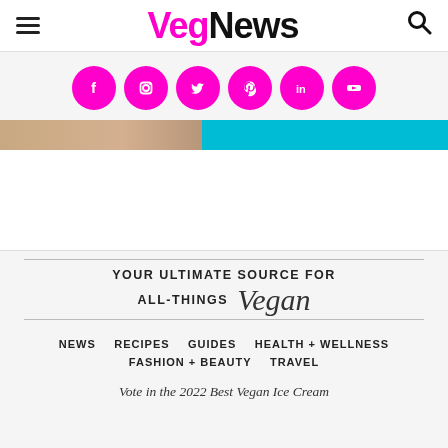VegNews
[Figure (infographic): Six magenta circular social media icons: Facebook, Instagram, Twitter, Pinterest, LinkedIn, YouTube]
[Figure (photo): Partial image strip with brownish left half and cyan/teal right half]
[Figure (other): White advertisement box area]
YOUR ULTIMATE SOURCE FOR ALL-THINGS Vegan
NEWS  RECIPES  GUIDES  HEALTH + WELLNESS  FASHION + BEAUTY  TRAVEL
Vote in the 2022 Best Vegan Ice Cream